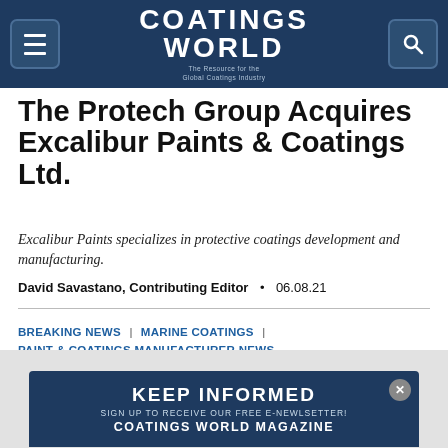Coatings World — The Resource for the Global Coatings Industry
The Protech Group Acquires Excalibur Paints & Coatings Ltd.
Excalibur Paints specializes in protective coatings development and manufacturing.
David Savastano, Contributing Editor • 06.08.21
BREAKING NEWS | MARINE COATINGS | PAINT & COATINGS MANUFACTURER NEWS
[Figure (photo): Partial view of a marine vessel or industrial structure against a blue sky]
KEEP INFORMED
SIGN UP TO RECEIVE OUR FREE E-NEWLSETTER!
COATINGS WORLD MAGAZINE